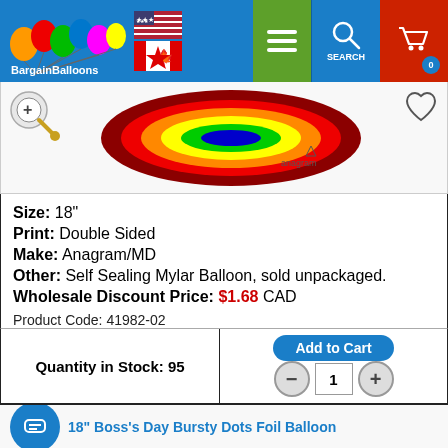BargainBalloons header with logo, US/CA flags, menu, search, cart
[Figure (photo): Partial view of a colorful foil balloon product image with zoom magnifier button and heart/wishlist button]
Size: 18"
Print: Double Sided
Make: Anagram/MD
Other: Self Sealing Mylar Balloon, sold unpackaged.
Wholesale Discount Price: $1.68 CAD

Product Code: 41982-02
Quantity in Stock: 95
Add to Cart
18" Boss's Day Bursty Dots Foil Balloon